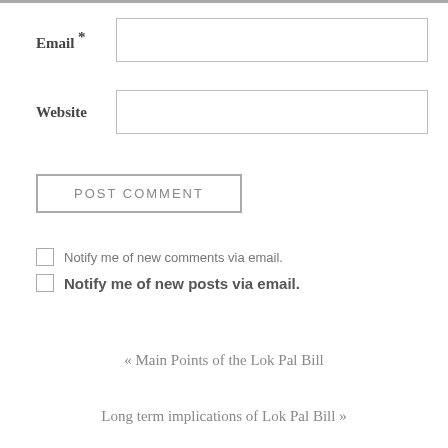Email *
Website
POST COMMENT
Notify me of new comments via email.
Notify me of new posts via email.
« Main Points of the Lok Pal Bill
Long term implications of Lok Pal Bill »